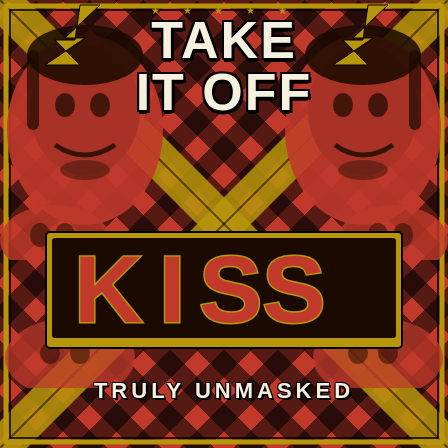[Figure (illustration): Book cover or poster for 'TAKE IT OFF — KISS TRULY UNMASKED'. Red background with diagonal black stripes forming an X pattern, gold lightning bolts and border. Two red-tinted halftone faces of KISS band members visible in upper corners and lower portions. Large white bold text reads 'TAKE IT OFF' at top. Large stylized 'KISS' logo in red with gold border in center. Text 'TRULY UNMASKED' in white at bottom.]